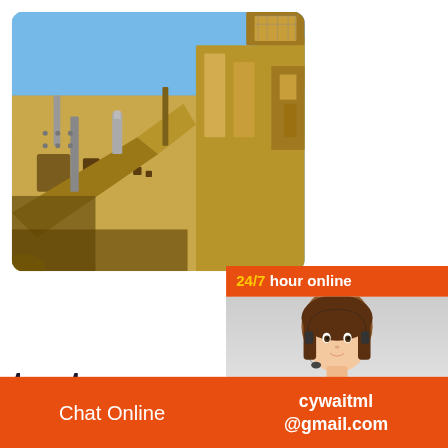[Figure (photo): Large yellow/tan mining crusher machinery photographed against blue sky, close-up industrial equipment]
[Figure (screenshot): 24/7 hour online chat widget with orange header, female customer service agent with headset, chat bubble, Click to chat button, and Enquiry section]
tentang crusher dengan p Beaumont Balades
Chat Online     cywaitml @gmail.com